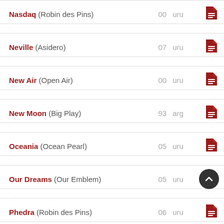| Name | Year | Country | File |
| --- | --- | --- | --- |
| Nasdaq (Robin des Pins) | 00 | uru |  |
| Neville (Asidero) | 07 | uru |  |
| New Air (Open Air) | 00 | uru |  |
| New Moon (Big Play) | 93 | arg |  |
| Oceania (Ocean Pearl) | 05 | uru |  |
| Our Dreams (Our Emblem) | 05 | uru |  |
| Phedra (Robin des Pins) | 06 | uru |  |
| Pietrabuena (Confidential Talk) | 97 | arg |  |
| Pindal (Jade Hunter) | 03 | arg |  |